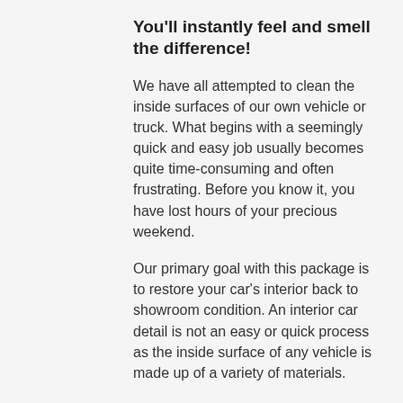You'll instantly feel and smell the difference!
We have all attempted to clean the inside surfaces of our own vehicle or truck. What begins with a seemingly quick and easy job usually becomes quite time-consuming and often frustrating. Before you know it, you have lost hours of your precious weekend.
Our primary goal with this package is to restore your car's interior back to showroom condition. An interior car detail is not an easy or quick process as the inside surface of any vehicle is made up of a variety of materials.